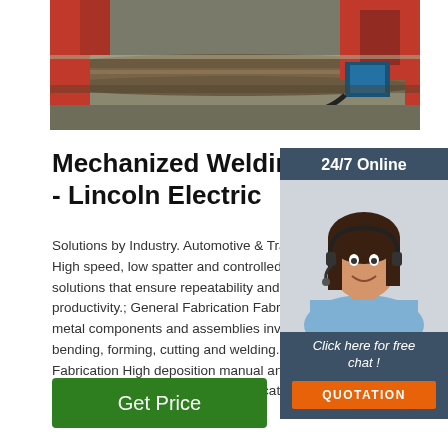[Figure (photo): Industrial welding equipment with metal pipe on a CNC cutting/welding table, red machinery visible in background]
Mechanized Welding Equipment - Lincoln Electric
Solutions by Industry. Automotive & Transportation High speed, low spatter and controlled heat solutions that ensure repeatability and high productivity.; General Fabrication Fabricating metal components and assemblies involving bending, forming, cutting and welding.; Heavy Fabrication High deposition manual and automated solutions for heavy fabrication equipment and component ...
[Figure (photo): Customer service representative woman with headset smiling, overlaid on dark blue sidebar widget with 24/7 Online label, Click here for free chat text, and QUOTATION button]
Get Price